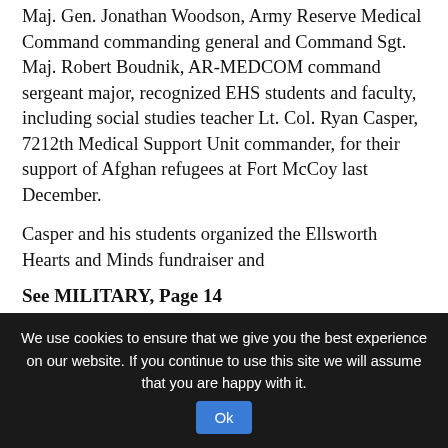Maj. Gen. Jonathan Woodson, Army Reserve Medical Command commanding general and Command Sgt. Maj. Robert Boudnik, AR-MEDCOM command sergeant major, recognized EHS students and faculty, including social studies teacher Lt. Col. Ryan Casper, 7212th Medical Support Unit commander, for their support of Afghan refugees at Fort McCoy last December.
Casper and his students organized the Ellsworth Hearts and Minds fundraiser and
See MILITARY, Page 14
See MILITARY, Page 12
Military
from Page 1
donated backpacks full of school supplies to Fort McCoy, Wis. for Afghan evacuees through
We use cookies to ensure that we give you the best experience on our website. If you continue to use this site we will assume that you are happy with it.  Ok